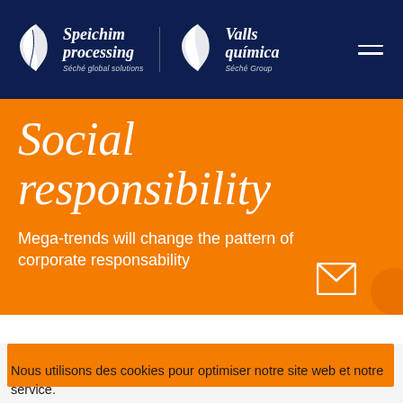[Figure (logo): Speichim processing and Valls química logos with Séché Group branding on dark navy navigation bar]
Social responsibility
Mega-trends will change the pattern of corporate responsability
[Figure (illustration): Orange bar/section at bottom of page]
Nous utilisons des cookies pour optimiser notre site web et notre service.